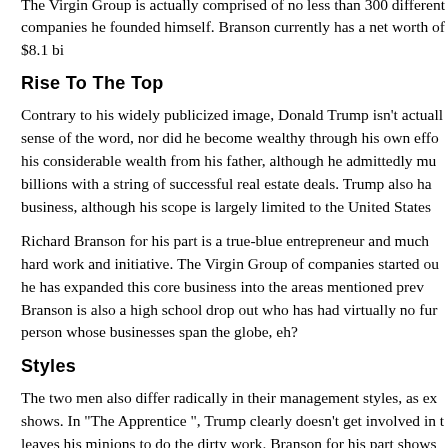The Virgin Group is actually comprised of no less than 300 different companies he founded himself. Branson currently has a net worth of over $8.1 bi…
Rise To The Top
Contrary to his widely publicized image, Donald Trump isn't actually a self-made man in the true sense of the word, nor did he become wealthy through his own efforts alone. He inherited much of his considerable wealth from his father, although he admittedly multiplied it many times over into billions with a string of successful real estate deals. Trump also has extensive dealings in show business, although his scope is largely limited to the United States.
Richard Branson for his part is a true-blue entrepreneur and much of his success is down to his own hard work and initiative. The Virgin Group of companies started out as a record store, from which he has expanded this core business into the areas mentioned previously mentioned above. Richard Branson is also a high school drop out who has had virtually no funding, quite remarkable for a person whose businesses span the globe, eh?
Styles
The two men also differ radically in their management styles, as exemplified by their respective TV shows. In "The Apprentice ", Trump clearly doesn't get involved in the day to day operations, and leaves his minions to do the dirty work. Branson for his part shows a willingness to get down and dirty with the unwashed masses on his own TV show, and he is regularly seen mucking in and helping along with the contestants.